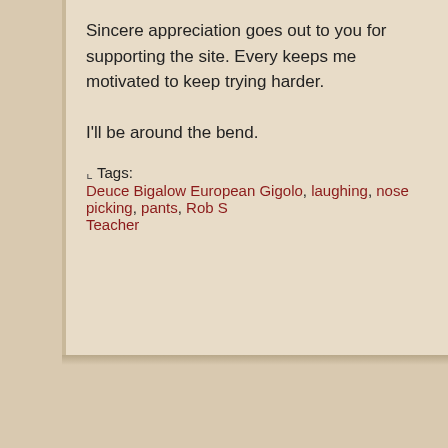Sincere appreciation goes out to you for supporting the site. Every keeps me motivated to keep trying harder.

I'll be around the bend.
Tags: Deuce Bigalow European Gigolo, laughing, nose picking, pants, Rob S Teacher